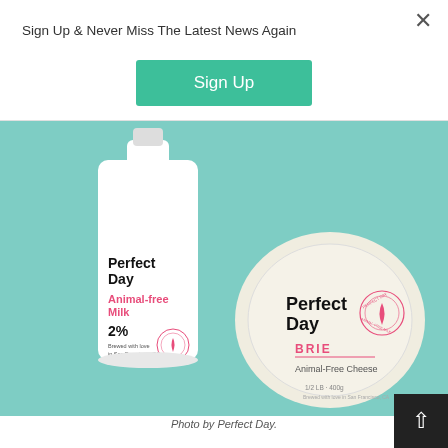Sign Up & Never Miss The Latest News Again
Sign Up
[Figure (photo): Perfect Day Animal-free Milk bottle and Perfect Day Brie Animal-Free Cheese round container on a teal background]
Photo by Perfect Day.